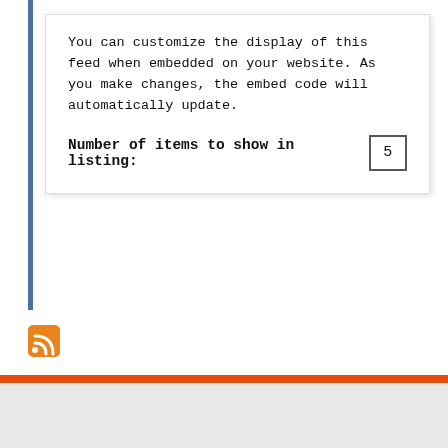You can customize the display of this feed when embedded on your website. As you make changes, the embed code will automatically update.
Number of items to show in listing: 5
[Figure (illustration): RSS feed icon - orange square with white RSS signal symbol]
[Figure (logo): University of Illinois Block I logo in orange with dark outline, followed by vertical divider line, then 'Facilities & Services' text with 'UNIVERSITY OF ILLINOIS URBANA-CHAMPAIGN' subtitle]